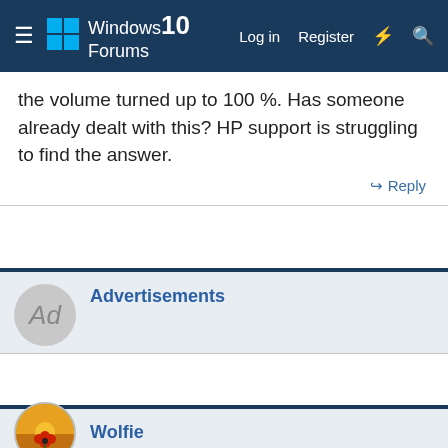Windows 10 Forums   Log in   Register
the volume turned up to 100 %. Has someone already dealt with this? HP support is struggling to find the answer.
↩ Reply
Advertisements
Wolfie